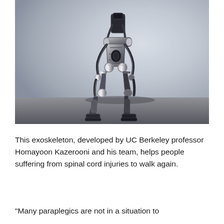[Figure (photo): A robotic exoskeleton (humanoid walking robot suit) photographed in a studio setting with a grey gradient background. The exoskeleton is shown in a walking pose with one leg forward, made of black and silver metallic components. There is a floor reflection visible at the bottom.]
This exoskeleton, developed by UC Berkeley professor Homayoon Kazerooni and his team, helps people suffering from spinal cord injuries to walk again.
“Many paraplegics are not in a situation to